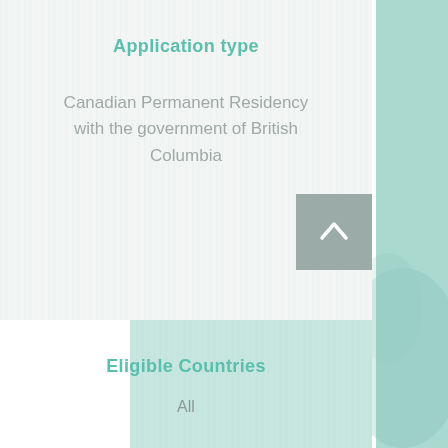Application type
Canadian Permanent Residency with the government of British Columbia
Eligible Countries
All